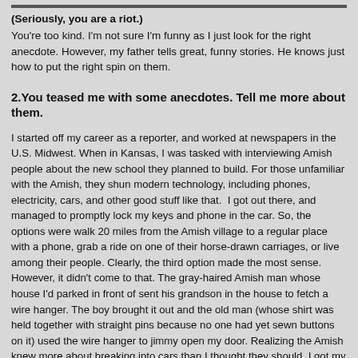(Seriously, you are a riot.)
You're too kind. I'm not sure I'm funny as I just look for the right anecdote. However, my father tells great, funny stories. He knows just how to put the right spin on them.
2.You teased me with some anecdotes. Tell me more about them.
I started off my career as a reporter, and worked at newspapers in the U.S. Midwest. When in Kansas, I was tasked with interviewing Amish people about the new school they planned to build. For those unfamiliar with the Amish, they shun modern technology, including phones, electricity, cars, and other good stuff like that.  I got out there, and managed to promptly lock my keys and phone in the car. So, the options were walk 20 miles from the Amish village to a regular place with a phone, grab a ride on one of their horse-drawn carriages, or live among their people. Clearly, the third option made the most sense. However, it didn't come to that. The gray-haired Amish man whose house I'd parked in front of sent his grandson in the house to fetch a wire hanger. The boy brought it out and the old man (whose shirt was held together with straight pins because no one had yet sewn buttons on it) used the wire hanger to jimmy open my door. Realizing the Amish knew more about breaking into cars than I thought they should, I got my quote for the story and high-tailed it out of there.